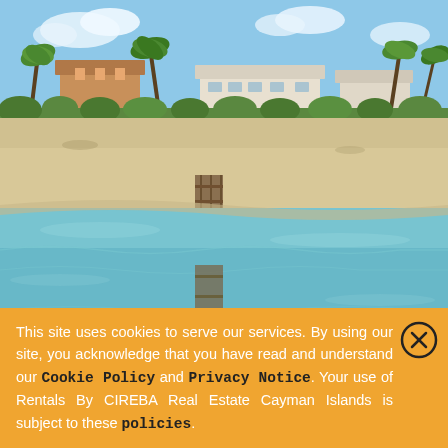[Figure (photo): Aerial/ground-level photo of a beachfront property complex with palm trees, sandy beach, and a wooden dock extending into turquoise water. Buildings visible in background.]
CONDO / APART
Villas Papagallo
West Bay
RMLS#: 2226
CI$5,000 per month
This site uses cookies to serve our services. By using our site, you acknowledge that you have read and understand our Cookie Policy and Privacy Notice. Your use of Rentals By CIREBA Real Estate Cayman Islands is subject to these policies.